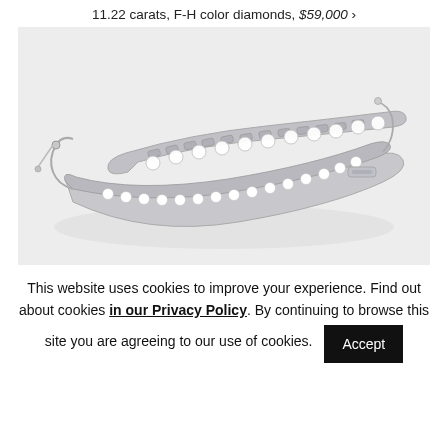11.22 carats, F-H color diamonds, $59,000 ›
[Figure (photo): A diamond bracelet set in white gold with adjustable sliding clasp, displayed on a light gray background. The bracelet features a double-row design with large round diamonds and a twisted/curb link chain detail, with a bolo-style closure mechanism.]
This website uses cookies to improve your experience. Find out about cookies in our Privacy Policy. By continuing to browse this site you are agreeing to our use of cookies.